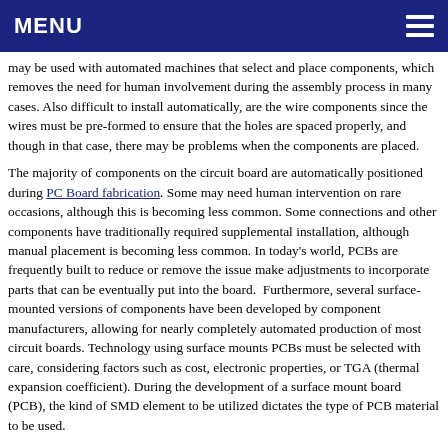MENU
may be used with automated machines that select and place components, which removes the need for human involvement during the assembly process in many cases. Also difficult to install automatically, are the wire components since the wires must be pre-formed to ensure that the holes are spaced properly, and though in that case, there may be problems when the components are placed.
The majority of components on the circuit board are automatically positioned during PC Board fabrication. Some may need human intervention on rare occasions, although this is becoming less common. Some connections and other components have traditionally required supplemental installation, although manual placement is becoming less common. In today's world, PCBs are frequently built to reduce or remove the issue make adjustments to incorporate parts that can be eventually put into the board. Furthermore, several surface-mounted versions of components have been developed by component manufacturers, allowing for nearly completely automated production of most circuit boards. Technology using surface mounts PCBs must be selected with care, considering factors such as cost, electronic properties, or TGA (thermal expansion coefficient). During the development of a surface mount board (PCB), the kind of SMD element to be utilized dictates the type of PCB material to be used.